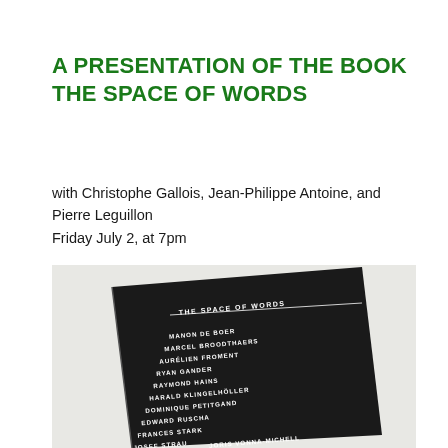A PRESENTATION OF THE BOOK THE SPACE OF WORDS
with Christophe Gallois, Jean-Philippe Antoine, and Pierre Leguillon
Friday July 2, at 7pm
[Figure (photo): A black book cover titled 'THE SPACE OF WORDS' with a list of artists: MANON DE BOER, MARCEL BROODTHAERS, AURÉLIEN FROMENT, RYAN GANDER, RAYMOND HAINS, HARALD KLINGELHÖLLER, DOMINIQUE PETITGAND, EDWARD RUSCHA, FRANCES STARK, JOSEF STRAU, JORIS VONNA-MICHELL — printed in white uppercase text on a dark background, photographed at a slight angle on a light surface.]